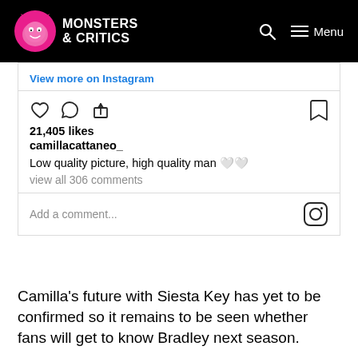MONSTERS & CRITICS — Menu
[Figure (screenshot): Instagram embed card showing: 'View more on Instagram' link, heart/comment/share icons, bookmark icon, 21,405 likes, username camillacattaneo_, caption 'Low quality picture, high quality man 🤍🤍', view all 306 comments, Add a comment... with Instagram icon]
Camilla's future with Siesta Key has yet to be confirmed so it remains to be seen whether fans will get to know Bradley next season.
Fans should stay tuned as more details about